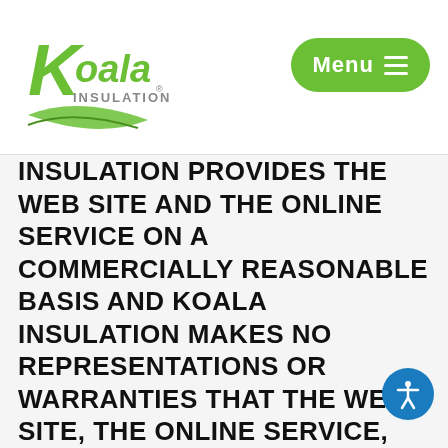Koala Insulation — Menu
INSULATION PROVIDES THE WEB SITE AND THE ONLINE SERVICE ON A COMMERCIALLY REASONABLE BASIS AND KOALA INSULATION MAKES NO REPRESENTATIONS OR WARRANTIES THAT THE WEB SITE, THE ONLINE SERVICE, THE CONTENT OR ANY SERVICES OFFERED IN CONNECTION WITH THE WEB SITE ARE OR SHALL REMAIN UNINTERRUPTED OR ERROR-FREE, THE CONTENT SHALL BE NON-INFRINGING ON ANY THIRD PARTY'S INTELLECTUAL PROPERTY RIGHTS, THAT DEFECTS SHALL BE CORRECTED, THAT THE WEB PAGES ON THE WEB SITE, THE ONLINE SERVICE, ANY ELECTRONIC COMMUNICATION OR THE SERVERS USED IN CONNECTION WITH THE WEB SITE ARE OR SHALL REMAIN FREE FROM ANY VIRUSES, WORMS, TIME BOMBS, DROP DEAD